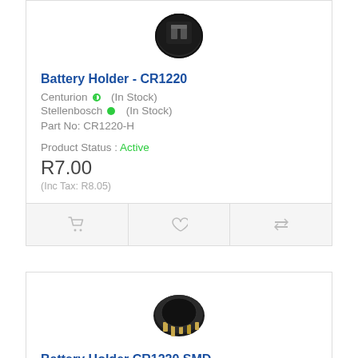[Figure (photo): Battery Holder CR1220 product photo - black circular battery holder component viewed from above]
Battery Holder - CR1220
Centurion (In Stock)
Stellenbosch (In Stock)
Part No: CR1220-H
Product Status : Active
R7.00
(Inc Tax: R8.05)
[Figure (photo): Battery Holder CR1220 SMD product photo - black battery holder with gold SMD contacts]
Battery Holder CR1220 SMD
Centurion (In Stock)
Stellenbosch (In Stock)